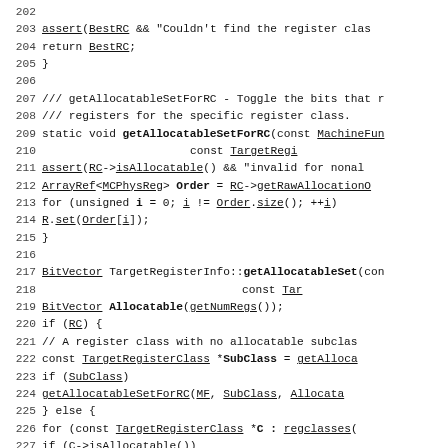[Figure (screenshot): Source code listing showing C++ code for register allocation functions: getAllocatableSetForRC and getGetAllocatableSet, lines 202-231.]